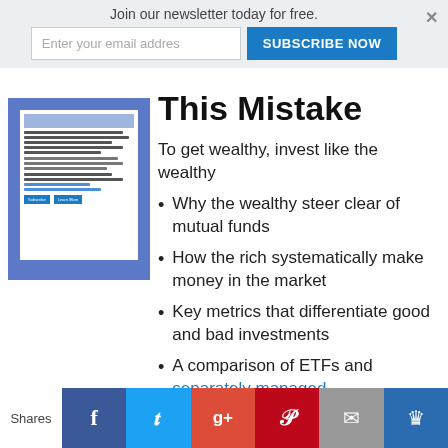Join our newsletter today for free.
[Figure (screenshot): Screenshot of a newsletter/email signup page with blue background and form fields]
This Mistake
To get wealthy, invest like the wealthy
Why the wealthy steer clear of mutual funds
How the rich systematically make money in the market
Key metrics that differentiate good and bad investments
A comparison of ETFs and separately managed
Shares | Facebook | Twitter | Google+ | Pinterest | Email | Crown